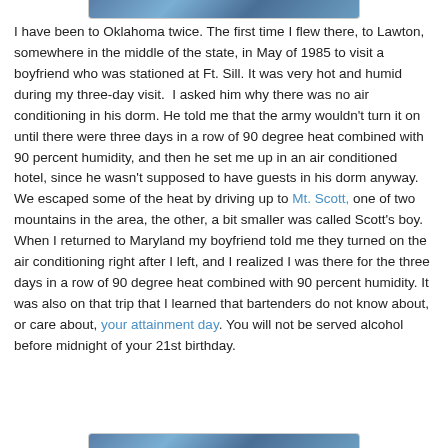[Figure (other): Partial image at top of page, showing a blue patterned/textured banner]
I have been to Oklahoma twice. The first time I flew there, to Lawton, somewhere in the middle of the state, in May of 1985 to visit a boyfriend who was stationed at Ft. Sill. It was very hot and humid during my three-day visit.  I asked him why there was no air conditioning in his dorm. He told me that the army wouldn't turn it on until there were three days in a row of 90 degree heat combined with 90 percent humidity, and then he set me up in an air conditioned hotel, since he wasn't supposed to have guests in his dorm anyway. We escaped some of the heat by driving up to Mt. Scott, one of two mountains in the area, the other, a bit smaller was called Scott's boy. When I returned to Maryland my boyfriend told me they turned on the air conditioning right after I left, and I realized I was there for the three days in a row of 90 degree heat combined with 90 percent humidity. It was also on that trip that I learned that bartenders do not know about, or care about, your attainment day. You will not be served alcohol before midnight of your 21st birthday.
[Figure (other): Partial image at bottom of page, showing a blue patterned/textured banner]